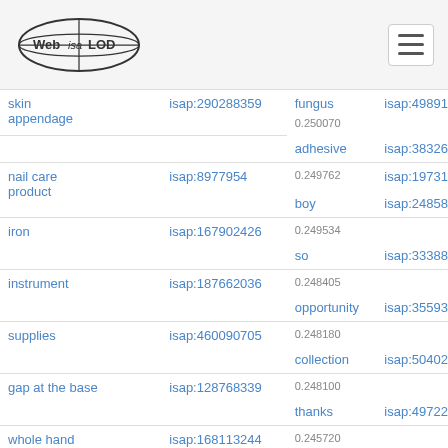Web isa LOD
| term | isap-id | term2 | isap-id2 |
| --- | --- | --- | --- |
| skin appendage | isap:290288359 | fungus / 0.250070 / adhesive | isap:498911905 / isap:383269225 |
| nail care product | isap:8977954 | 0.249762 / boy | isap:197316346 / isap:248584885 |
| iron | isap:167902426 | 0.249534 / so | isap:333888160 |
| instrument | isap:187662036 | 0.248405 / opportunity | isap:355937798 |
| supplies | isap:460090705 | 0.248180 / collection | isap:504027763 |
| gap at the base | isap:128768339 | 0.248100 / thanks | isap:497226400 |
| whole hand | isap:168113244 | 0.245720 / index | isap:204830093 |
| form | isap:168180614 | 0.245000 / point | isap:198714087 |
| toe | isap:128744457 | 0.244456 / infection | isap:150356006 |
| great time | isap:166828884 | 0.243001 |  |